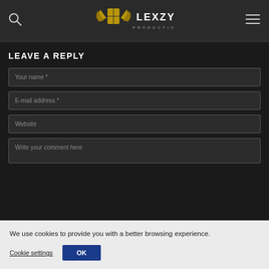Lexzyne Productions — navigation header with search icon, logo, and menu icon
LEAVE A REPLY
Your name *
E-mail address *
Website
Write your comment here
We use cookies to provide you with a better browsing experience.
Cookie settings
OK